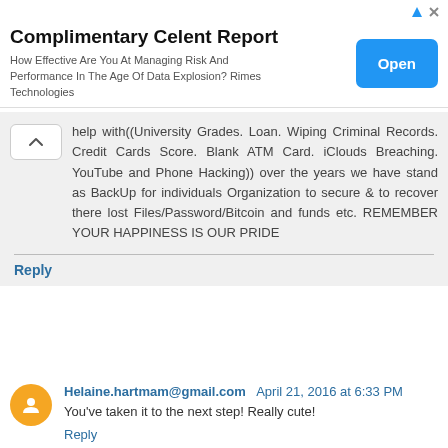[Figure (other): Advertisement banner for Complimentary Celent Report with Open button]
help with((University Grades. Loan. Wiping Criminal Records. Credit Cards Score. Blank ATM Card. iClouds Breaching. YouTube and Phone Hacking)) over the years we have stand as BackUp for individuals Organization to secure & to recover there lost Files/Password/Bitcoin and funds etc. REMEMBER YOUR HAPPINESS IS OUR PRIDE
Reply
Helaine.hartmam@gmail.com April 21, 2016 at 6:33 PM
You've taken it to the next step! Really cute!
Reply